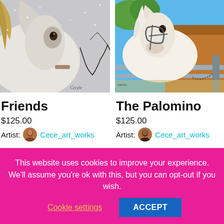[Figure (photo): Close-up painting of a white horse in snow with bare tree branches, signed 'Cecyle']
Friends
$125.00
Artist: Cece_art_works
[Figure (photo): Painting of a palomino horse with bridle standing near a wooden fence and barn, signed]
The Palomino
$125.00
Artist: Cece_art_works
This website uses cookies to improve your experience. We'll assume you're ok with this, but you can opt-out if you wish.
Cookie settings
ACCEPT